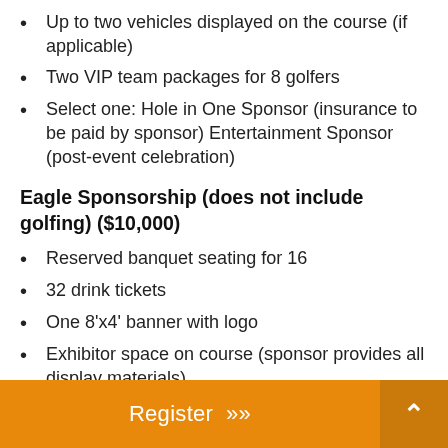Up to two vehicles displayed on the course (if applicable)
Two VIP team packages for 8 golfers
Select one: Hole in One Sponsor (insurance to be paid by sponsor) Entertainment Sponsor (post-event celebration)
Eagle Sponsorship (does not include golfing) ($10,000)
Reserved banquet seating for 16
32 drink tickets
One 8'x4' banner with logo
Exhibitor space on course (sponsor provides all display materials)
Ability to add items to golf swag bag (up to 160, due April 11th)